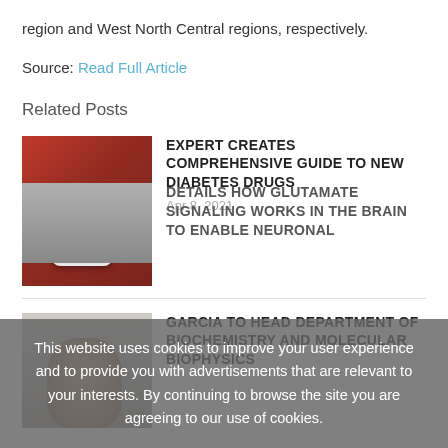region and West North Central regions, respectively.
Source: Read Full Article
Related Posts
[Figure (photo): Thumbnail image of a diabetes blood glucose meter on a red background]
EXPERT CREATES COMPREHENSIVE GUIDE TO NEW DIABETES DRUGS
Apr 8, 2021
[Figure (photo): Thumbnail photo of a man (Garcia) from shoulders up]
GARCIA TO HEAD DEPARTMENT OF BIOCHEMISTRY AND MOLECULAR BIOPHYSICS
This website uses cookies to improve your user experience and to provide you with advertisements that are relevant to your interests. By continuing to browse the site you are agreeing to our use of cookies.
[Figure (photo): Greyed out thumbnail image for glutamate signaling article]
DETAILS HOW GLUTAMATE SIGNALING WORKS IN THE BRAIN TO ENABLE NEURONAL